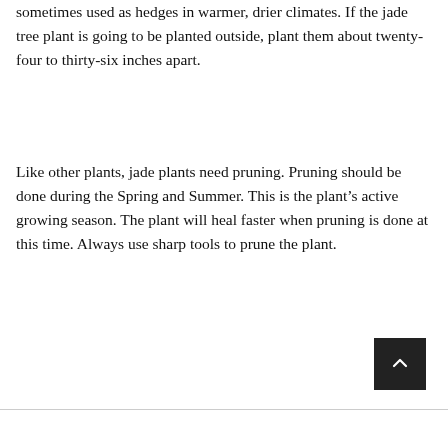sometimes used as hedges in warmer, drier climates. If the jade tree plant is going to be planted outside, plant them about twenty-four to thirty-six inches apart.
Like other plants, jade plants need pruning. Pruning should be done during the Spring and Summer. This is the plant’s active growing season. The plant will heal faster when pruning is done at this time. Always use sharp tools to prune the plant.